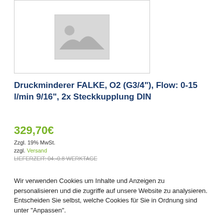[Figure (photo): Product placeholder image in a bordered box — grey image icon with mountain silhouette]
Druckminderer FALKE, O2 (G3/4"), Flow: 0-15 l/min 9/16", 2x Steckkupplung DIN
329,70€
Zzgl. 19% MwSt.
zzgl. Versand
LIEFERZEIT: 04.-0.8 WERKTAGE
Wir verwenden Cookies um Inhalte und Anzeigen zu personalisieren und die zugriffe auf unsere Website zu analysieren. Entscheiden Sie selbst, welche Cookies für Sie in Ordnung sind unter "Anpassen".
Anpassen
Alle zulassen